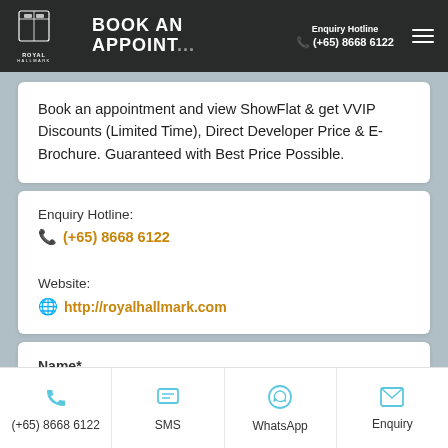Enquiry Hotline (+65) 8668 6122
BOOK AN APPOINTMENT
Book an appointment and view ShowFlat & get VVIP Discounts (Limited Time), Direct Developer Price & E-Brochure. Guaranteed with Best Price Possible.
Enquiry Hotline: (+65) 8668 6122
Website: http://royalhallmark.com
Name*
(+65) 8668 6122  SMS  WhatsApp  Enquiry